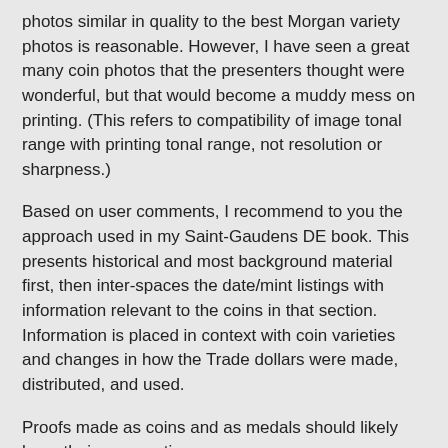photos similar in quality to the best Morgan variety photos is reasonable. However, I have seen a great many coin photos that the presenters thought were wonderful, but that would become a muddy mess on printing. (This refers to compatibility of image tonal range with printing tonal range, not resolution or sharpness.)
Based on user comments, I recommend to you the approach used in my Saint-Gaudens DE book. This presents historical and most background material first, then inter-spaces the date/mint listings with information relevant to the coins in that section. Information is placed in context with coin varieties and changes in how the Trade dollars were made, distributed, and used.
Proofs made as coins and as medals should likely have their own section.
Your comments, above, indicate you've decided to take a certain path and do not care for other viewpoints. I wish you and collaborators well on the Trade dollar book project. RWB